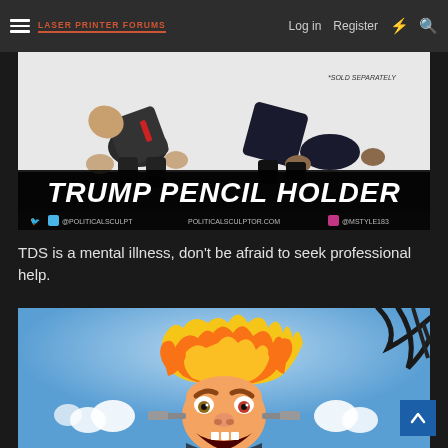Laser Printer Forums — Log in  Register
[Figure (photo): Trump pencil holder novelty product image showing cartoon figurines in a bent-over pose, with text 'TRUMP PENCIL HOLDER' and '*SOLD SEPARATELY', social handles @politicalsculpt and @mstyle183, website politicalsculptor.com]
TDS is a mental illness, don't be afraid to seek professional help.
[Figure (illustration): Cartoon illustration of an angry caricature with flaming hair (resembling Trump) with steam coming from ears, against a blue sky background with dark branches]